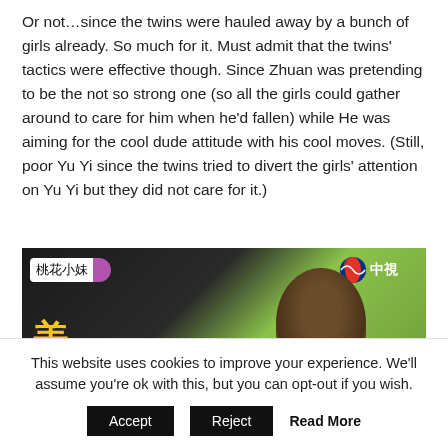Or not…since the twins were hauled away by a bunch of girls already. So much for it. Must admit that the twins' tactics were effective though. Since Zhuan was pretending to be the not so strong one (so all the girls could gather around to care for him when he'd fallen) while He was aiming for the cool dude attitude with his cool moves. (Still, poor Yu Yi since the twins tried to divert the girls' attention on Yu Yi but they did not care for it.)
[Figure (screenshot): TV screenshot from CTV (中視) showing Chinese TV show '桃花小妹' with large yellow Chinese characters (美女) in lower left and a person's head visible in the right portion of the frame.]
This website uses cookies to improve your experience. We'll assume you're ok with this, but you can opt-out if you wish.